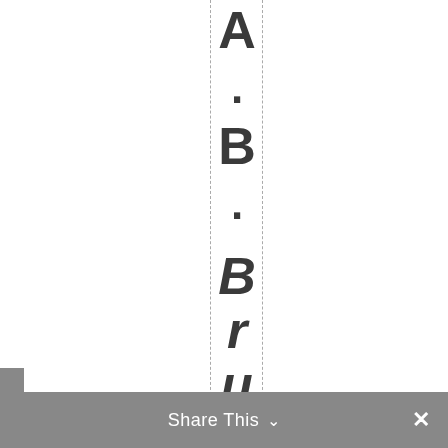A . B . BruceBay
Share This ∨  ✕